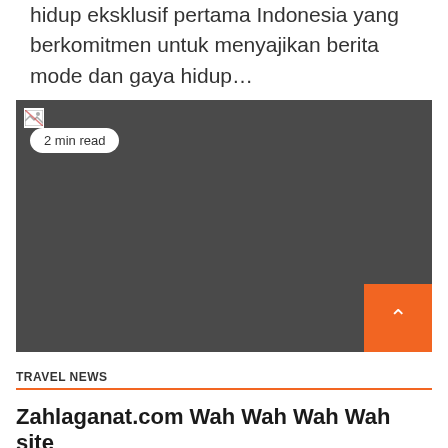hidup eksklusif pertama Indonesia yang berkomitmen untuk menyajikan berita mode dan gaya hidup...
[Figure (photo): Dark gray placeholder image with a broken image icon in the top-left corner and a '2 min read' badge. An orange back-to-top button is in the bottom-right corner of the image.]
TRAVEL NEWS
Zahlaganat.com Wah Wah Wah Wah site